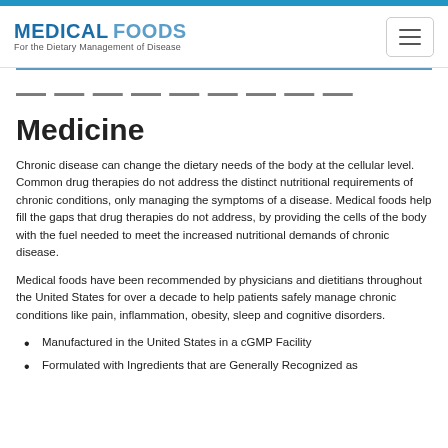MEDICAL FOODS — For the Dietary Management of Disease
Connecting Nutrition to Medicine
Chronic disease can change the dietary needs of the body at the cellular level. Common drug therapies do not address the distinct nutritional requirements of chronic conditions, only managing the symptoms of a disease. Medical foods help fill the gaps that drug therapies do not address, by providing the cells of the body with the fuel needed to meet the increased nutritional demands of chronic disease.
Medical foods have been recommended by physicians and dietitians throughout the United States for over a decade to help patients safely manage chronic conditions like pain, inflammation, obesity, sleep and cognitive disorders.
Manufactured in the United States in a cGMP Facility
Formulated with Ingredients that are Generally Recognized as